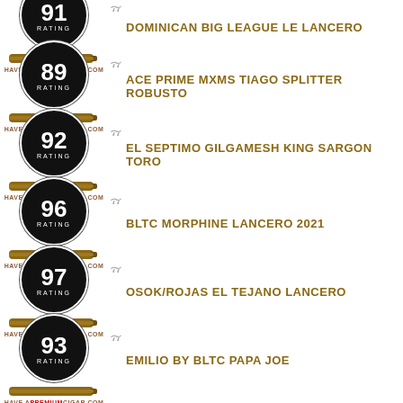91 RATING - DOMINICAN BIG LEAGUE LE LANCERO
89 RATING - ACE PRIME MXMS TIAGO SPLITTER ROBUSTO
92 RATING - EL SEPTIMO GILGAMESH KING SARGON TORO
96 RATING - BLTC MORPHINE LANCERO 2021
97 RATING - OSOK/ROJAS EL TEJANO LANCERO
93 RATING - EMILIO BY BLTC PAPA JOE
?? RATING - (partial, cut off)